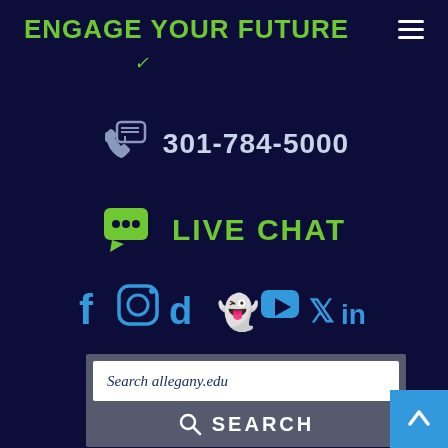ENGAGE YOUR FUTURE
301-784-5000
LIVE CHAT
[Figure (infographic): Social media icons row: Facebook, Instagram, TikTok, Snapchat, YouTube, Twitter/X, LinkedIn — all in blue]
Search allegany.edu
SEARCH